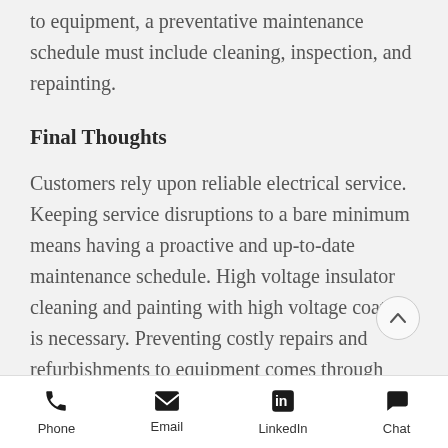to equipment, a preventative maintenance schedule must include cleaning, inspection, and repainting.
Final Thoughts
Customers rely upon reliable electrical service. Keeping service disruptions to a bare minimum means having a proactive and up-to-date maintenance schedule. High voltage insulator cleaning and painting with high voltage coating is necessary. Preventing costly repairs and refurbishments to equipment comes through thorough inspection and cleaning. Utility Service
Phone  Email  LinkedIn  Chat